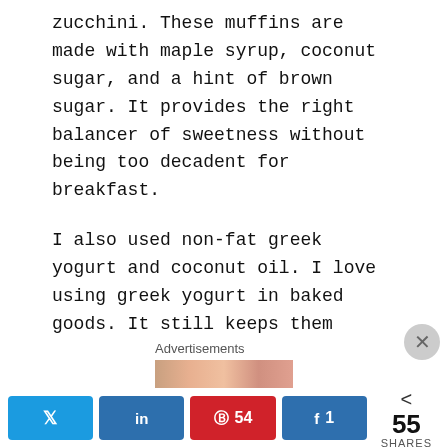zucchini. These muffins are made with maple syrup, coconut sugar, and a hint of brown sugar. It provides the right balancer of sweetness without being too decadent for breakfast.
I also used non-fat greek yogurt and coconut oil. I love using greek yogurt in baked goods. It still keeps them moist but allows you to use a little less oil. Coconut oil is also my oil of choice for baking it is a good healthy fat.
Combine the wet ingredients and dry ingredients and mix until well combined.
Now time for the secret, star ingredient. The zucchini. The
Advertisements
[Figure (photo): Partial advertisement image visible at bottom of page]
Twitter share | LinkedIn share | Pinterest 54 | Facebook 1 | < 55 SHARES